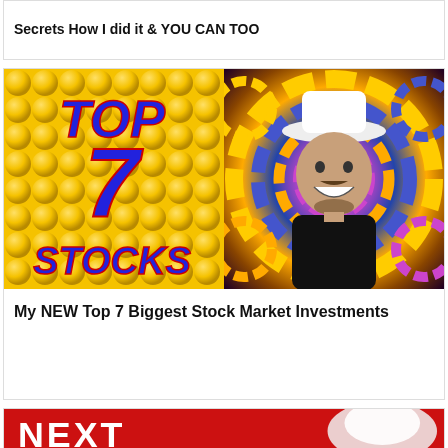Secrets How I did it & YOU CAN TOO
[Figure (photo): Thumbnail image split: left half shows bold text 'TOP 7 STOCKS' on yellow background, right half shows a man in a white hat smiling with colorful psychedelic swirl background]
My NEW Top 7 Biggest Stock Market Investments
[Figure (photo): Partial thumbnail at bottom showing red background with white text beginning 'NEXT' and a person in white hat]